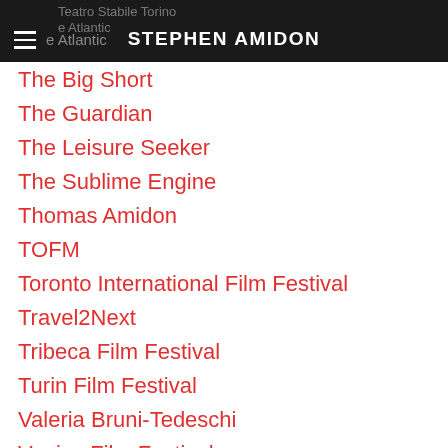STEPHEN AMIDON
The Big Short
The Guardian
The Leisure Seeker
The Sublime Engine
Thomas Amidon
TOFM
Toronto International Film Festival
Travel2Next
Tribeca Film Festival
Turin Film Festival
Valeria Bruni-Tedeschi
Venice Film Festival
Vermont Public Radio
Village Voice
VPR
Wake Forest Magazine
Wake Forest University